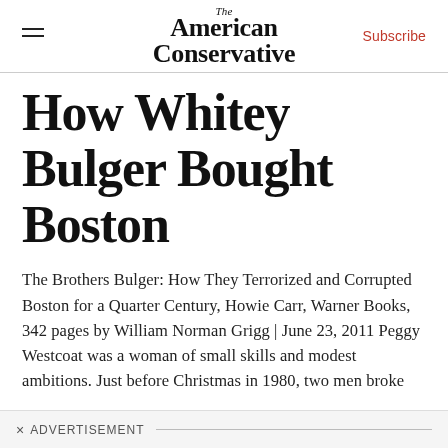The American Conservative | Subscribe
How Whitey Bulger Bought Boston
The Brothers Bulger: How They Terrorized and Corrupted Boston for a Quarter Century, Howie Carr, Warner Books, 342 pages by William Norman Grigg | June 23, 2011 Peggy Westcoat was a woman of small skills and modest ambitions. Just before Christmas in 1980, two men broke
× ADVERTISEMENT